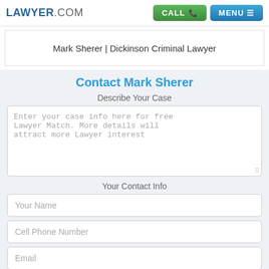LAWYER.COM | CALL | MENU
Mark Sherer | Dickinson Criminal Lawyer
Contact Mark Sherer
Describe Your Case
Enter your case info here for free Lawyer Match. More details will attract more Lawyer interest
Your Contact Info
Your Name
Cell Phone Number
Email